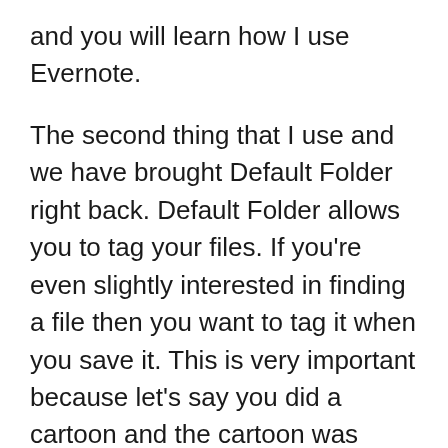and you will learn how I use Evernote.
The second thing that I use and we have brought Default Folder right back. Default Folder allows you to tag your files. If you're even slightly interested in finding a file then you want to tag it when you save it. This is very important because let's say you did a cartoon and the cartoon was about a bear. Then later on you wanted to find something to do with intimidation or fear and you typed in intimidation or fear. What kind of results would you get? Nothing.
What you do when you save a file is you put in some little tags. When you put in those tags and Default Folder does this really well then every